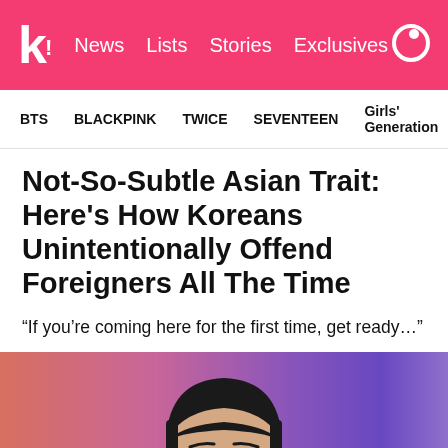K! News Lists Stories Exclusives
BTS  BLACKPINK  TWICE  SEVENTEEN  Girls' Generation
Not-So-Subtle Asian Trait: Here's How Koreans Unintentionally Offend Foreigners All The Time
“If you’re coming here for the first time, get ready…”
[Figure (photo): Close-up photo of a young Korean man with straight dark hair in a bowl cut, looking toward camera. Colorful blurred background with orange, pink, and purple tones.]